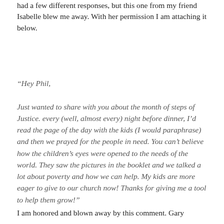had a few different responses, but this one from my friend Isabelle blew me away. With her permission I am attaching it below.
“Hey Phil,

Just wanted to share with you about the month of steps of Justice. every (well, almost every) night before dinner, I’d read the page of the day with the kids (I would paraphrase) and then we prayed for the people in need. You can’t believe how the children’s eyes were opened to the needs of the world. They saw the pictures in the booklet and we talked a lot about poverty and how we can help. My kids are more eager to give to our church now! Thanks for giving me a tool to help them grow!”
I am honored and blown away by this comment. Gary